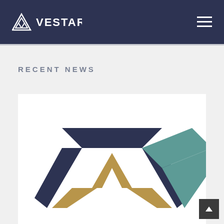VESTAR
RECENT NEWS
[Figure (logo): Vestar company logo — a large multi-colored geometric V/triangle mark using dark navy, teal, and gold colors, displayed on a white card background]